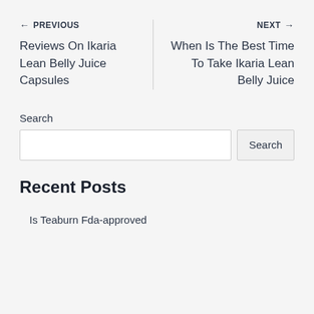← PREVIOUS
Reviews On Ikaria Lean Belly Juice Capsules
NEXT →
When Is The Best Time To Take Ikaria Lean Belly Juice
Search
Recent Posts
Is Teaburn Fda-approved